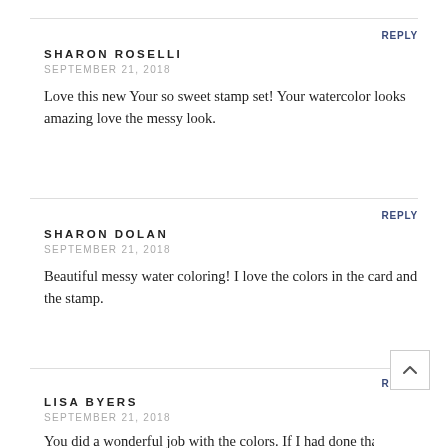SHARON ROSELLI
SEPTEMBER 21, 2018
Love this new Your so sweet stamp set! Your watercolor looks amazing love the messy look.
SHARON DOLAN
SEPTEMBER 21, 2018
Beautiful messy water coloring! I love the colors in the card and the stamp.
LISA BYERS
SEPTEMBER 21, 2018
You did a wonderful job with the colors. If I had done that,